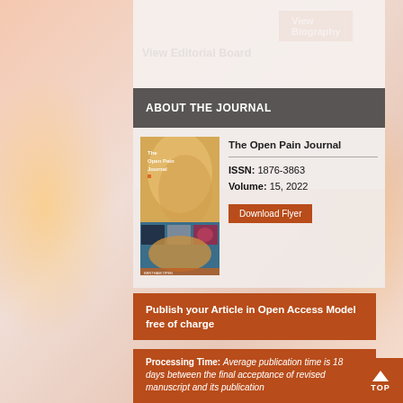View Biography
View Editorial Board
ABOUT THE JOURNAL
[Figure (illustration): Cover of The Open Pain Journal showing anatomical and pain imagery]
The Open Pain Journal
ISSN: 1876-3863
Volume: 15, 2022
Download Flyer
Publish your Article in Open Access Model free of charge
Processing Time: Average publication time is 18 days between the final acceptance of revised manuscript and its publication